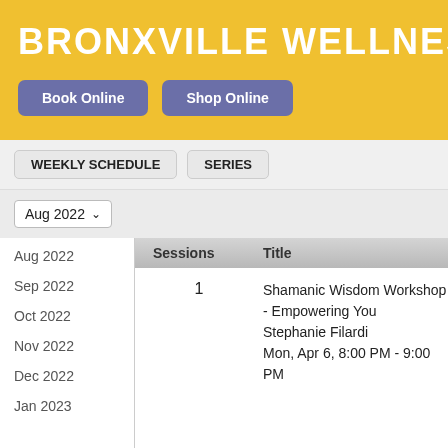BRONXVILLE WELLNESS SANCTUAR
Book Online
Shop Online
WEEKLY SCHEDULE
SERIES
Aug 2022
| Sessions | Title |
| --- | --- |
| 1 | Shamanic Wisdom Workshop - Empowering You
Stephanie Filardi
Mon, Apr 6, 8:00 PM - 9:00 PM |
Aug 2022
Sep 2022
Oct 2022
Nov 2022
Dec 2022
Jan 2023